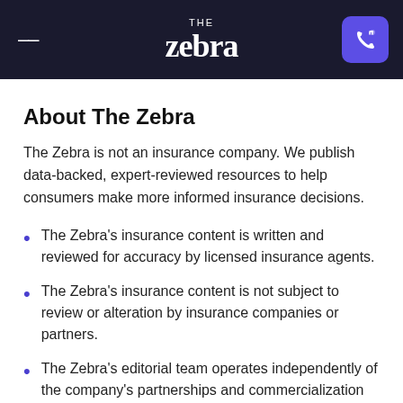THE Zebra
About The Zebra
The Zebra is not an insurance company. We publish data-backed, expert-reviewed resources to help consumers make more informed insurance decisions.
The Zebra's insurance content is written and reviewed for accuracy by licensed insurance agents.
The Zebra's insurance content is not subject to review or alteration by insurance companies or partners.
The Zebra's editorial team operates independently of the company's partnerships and commercialization interests, publishing unbiased information for